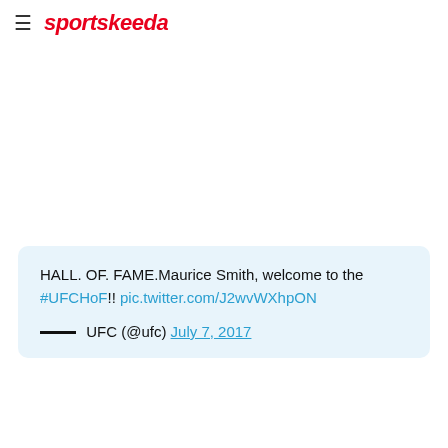sportskeeda
HALL. OF. FAME.Maurice Smith, welcome to the #UFCHoF!! pic.twitter.com/J2wvWXhpON
— UFC (@ufc) July 7, 2017